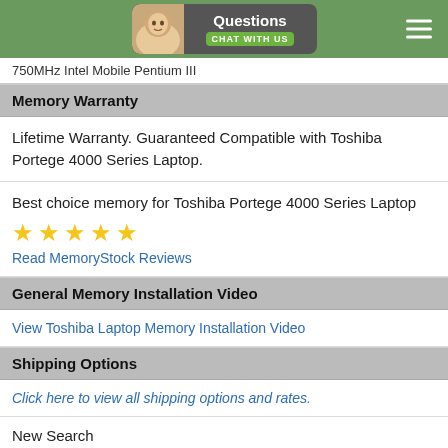Questions Chat With Us
750MHz Intel Mobile Pentium III
Memory Warranty
Lifetime Warranty. Guaranteed Compatible with Toshiba Portege 4000 Series Laptop.
Best choice memory for Toshiba Portege 4000 Series Laptop
[Figure (other): Five gold star rating icons]
Read MemoryStock Reviews
General Memory Installation Video
View Toshiba Laptop Memory Installation Video
Shipping Options
Click here to view all shipping options and rates.
New Search
Enter keywords.....